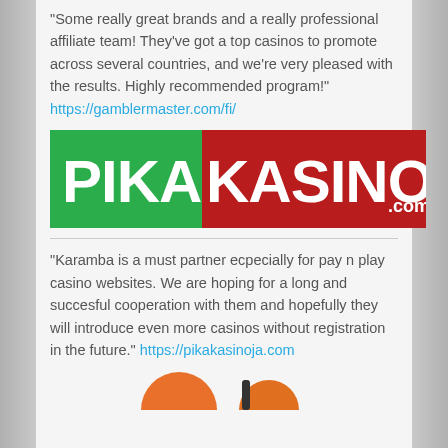"Some really great brands and a really professional affiliate team! They've got a top casinos to promote across several countries, and we're very pleased with the results. Highly recommended program!" https://gamblermaster.com/fi/
[Figure (logo): PikaKasinoja.com logo — green left half with 'PIKA' in white, red right half with 'KASINOJA' in white and '.com' subscript]
"Karamba is a must partner ecpecially for pay n play casino websites. We are hoping for a long and succesful cooperation with them and hopefully they will introduce even more casinos without registration in the future." https://pikakasinoja.com
[Figure (logo): Partial logo visible at bottom of page — orange/red circular shape partially cut off]